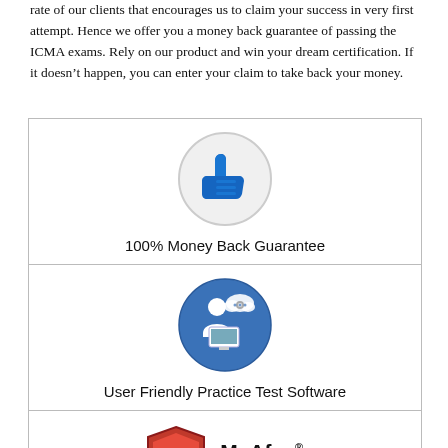rate of our clients that encourages us to claim your success in very first attempt. Hence we offer you a money back guarantee of passing the ICMA exams. Rely on our product and win your dream certification. If it doesn't happen, you can enter your claim to take back your money.
[Figure (illustration): Thumbs up icon inside a grey circle representing 100% Money Back Guarantee]
100% Money Back Guarantee
[Figure (illustration): Person at computer with cloud icon in a blue circle representing User Friendly Practice Test Software]
User Friendly Practice Test Software
[Figure (logo): McAfee SECURE logo with shield and M emblem]
TESTED 19 Aug 2022